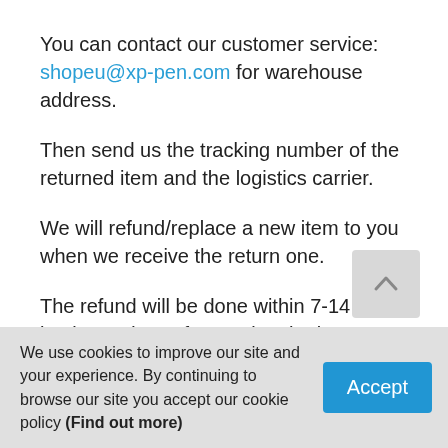You can contact our customer service: shopeu@xp-pen.com for warehouse address.
Then send us the tracking number of the returned item and the logistics carrier.
We will refund/replace a new item to you when we receive the return one.
The refund will be done within 7-14 business days after getting the item.
Return shipping fee:
If the product itself has no hardware problem, the buyer
We use cookies to improve our site and your experience. By continuing to browse our site you accept our cookie policy (Find out more)